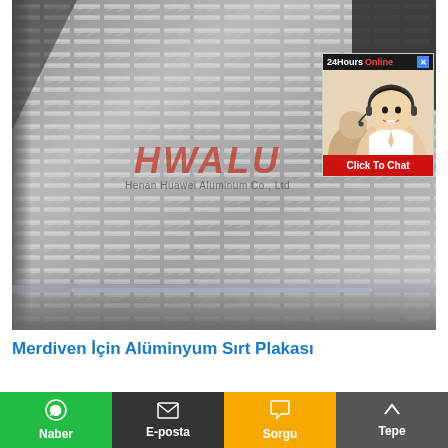[Figure (photo): Close-up photo of a checker/diamond plate aluminum sheet (anti-slip tread plate), grey metallic surface with raised diamond pattern. HWALU (Henan Huawei Aluminum Co., Ltd) watermark visible. A customer service chat widget overlay in top-right corner showing '24Hours Online', a smiling agent with headset, and a red 'Click To Chat' button.]
Merdiven İçin Alüminyum Sırt Plakası
Kaymaz merdiven için elmas alüminyum sırt
Naber  E-posta  Sorgu  Tepe